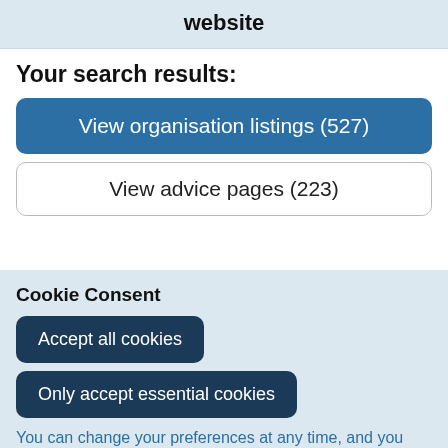website
Your search results:
View organisation listings (527)
View advice pages (223)
Cookie Consent
Accept all cookies
Only accept essential cookies
You can change your preferences at any time, and you can read more about our cookies before you choose.
Leave Website